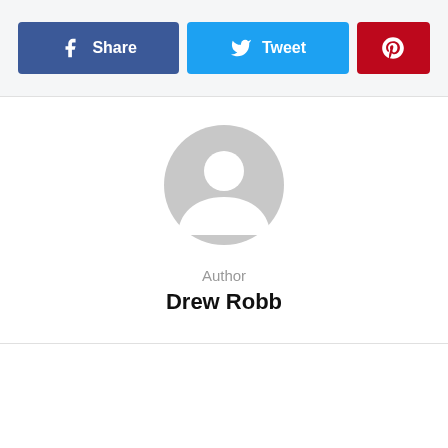[Figure (infographic): Social share buttons: Facebook Share (dark blue), Twitter Tweet (light blue), Pinterest (red with pin icon)]
[Figure (illustration): Generic grey user avatar placeholder image — circular silhouette of a person]
Author
Drew Robb